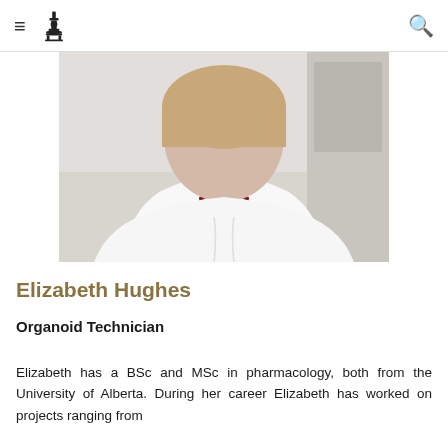≡ [microscope logo] [search icon]
[Figure (photo): Photo of Elizabeth Hughes wearing a white lab coat over a dark red shirt, cropped to show torso and partial face/neck]
Elizabeth Hughes
Organoid Technician
Elizabeth has a BSc and MSc in pharmacology, both from the University of Alberta. During her career Elizabeth has worked on projects ranging from